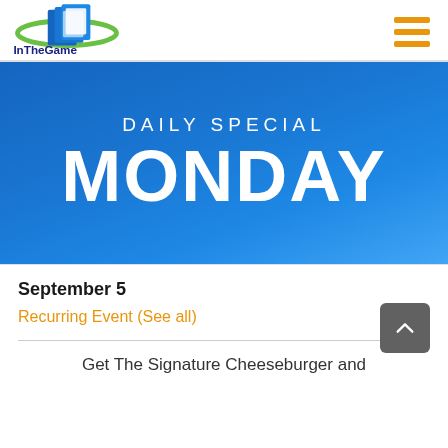InTheGame logo and navigation menu
[Figure (illustration): Blue gradient banner with text 'DAILY SPECIAL MONDAY']
September 5
Recurring Event (See all)
Get The Signature Cheeseburger and